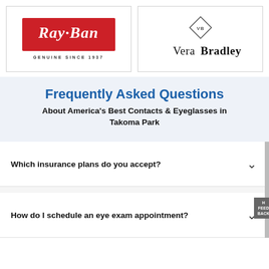[Figure (logo): Ray-Ban logo: red rectangle with white cursive Ray-Ban text and 'GENUINE SINCE 1937' below in small caps]
[Figure (logo): Vera Bradley logo: diamond shape with VB monogram above styled serif text 'Vera Bradley']
Frequently Asked Questions
About America's Best Contacts & Eyeglasses in Takoma Park
Which insurance plans do you accept?
How do I schedule an eye exam appointment?